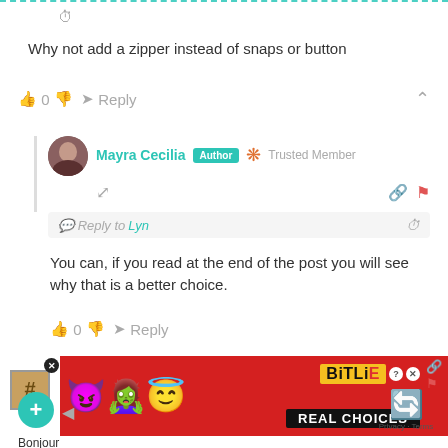Why not add a zipper instead of snaps or button
0  Reply
Mayra Cecilia  Author  Trusted Member
Reply to Lyn
You can, if you read at the end of the post you will see why that is a better choice.
0  Reply
[Figure (screenshot): BitLife mobile game advertisement banner with emojis (devil, woman, angel face) and 'REAL CHOICES' text on red background]
2018/1
Bonjour